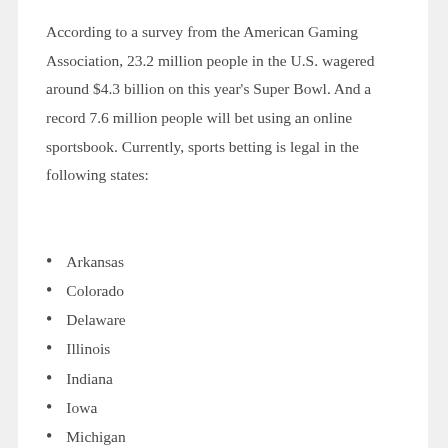According to a survey from the American Gaming Association, 23.2 million people in the U.S. wagered around $4.3 billion on this year's Super Bowl. And a record 7.6 million people will bet using an online sportsbook. Currently, sports betting is legal in the following states:
Arkansas
Colorado
Delaware
Illinois
Indiana
Iowa
Michigan
Mississippi
Montana